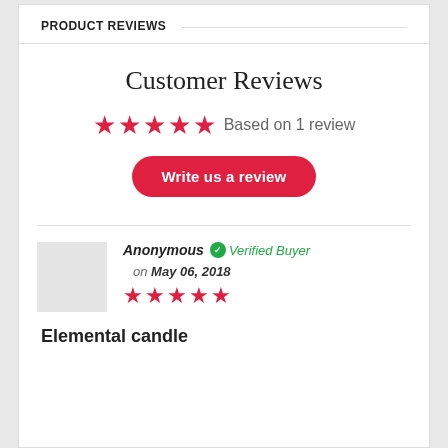PRODUCT REVIEWS
Customer Reviews
★★★★★ Based on 1 review
Write us a review
Anonymous ✓ Verified Buyer on May 06, 2018
★★★★★
Elemental candle